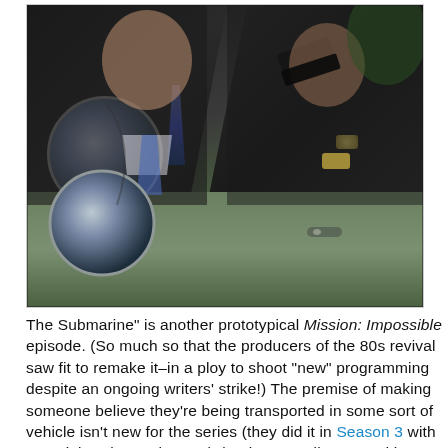[Figure (photo): A still from Mission: Impossible TV show showing two men in dark suits inside a car. One man faces forward in the driver or passenger seat while another holds a gun. A car side mirror is visible in the foreground showing reflections. The lower portion shows a green car door.]
The Submarine" is another prototypical Mission: Impossible episode. (So much so that the producers of the 80s revival saw fit to remake it–in a ploy to shoot "new" programming despite an ongoing writers' strike!) The premise of making someone believe they're being transported in some sort of vehicle isn't new for the series (they did it in Season 3 with a truck in "The Exchange"), but it's so well executed here that that hardly matters. This time, they kidnap a Nazi war criminal from his own Iron Curtain captors, and trick him into believing he's being secreted away by his compatriots aboard a U-Boat. In reality he's still in the same Eastern Bloc